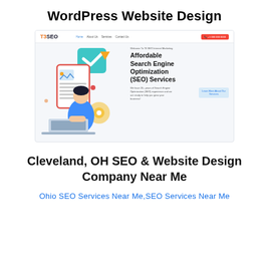WordPress Website Design
[Figure (screenshot): Screenshot of T3SEO website showing navbar with T3SEO logo, navigation links (Home, About Us, Services, Contact Us), a red CTA button, and a hero section with an illustration of a person at a laptop alongside text reading 'Affordable Search Engine Optimization (SEO) Services' and a blue button.]
Cleveland, OH SEO & Website Design Company Near Me
Ohio SEO Services Near Me,SEO Services Near Me